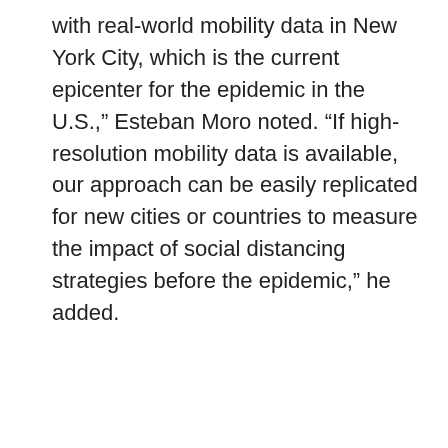with real-world mobility data in New York City, which is the current epicenter for the epidemic in the U.S.," Esteban Moro noted. "If high-resolution mobility data is available, our approach can be easily replicated for new cities or countries to measure the impact of social distancing strategies before the epidemic," he added.